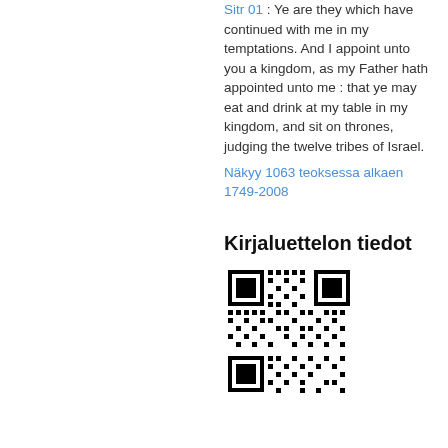Ye are they which have continued with me in my temptations. And I appoint unto you a kingdom, as my Father hath appointed unto me : that ye may eat and drink at my table in my kingdom, and sit on thrones, judging the twelve tribes of Israel.
Näkyy 1063 teoksessa alkaen 1749-2008
Kirjaluettelon tiedot
[Figure (other): QR code for Kirjaluettelon tiedot]